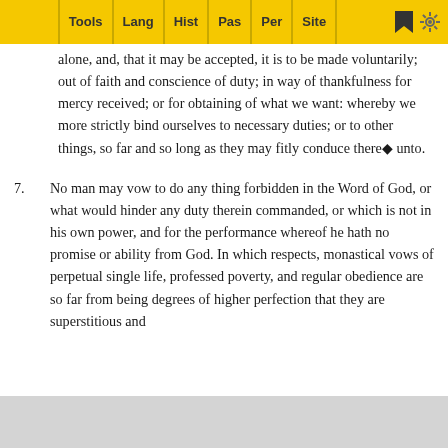Tools | Lang | Hist | Pas | Per | Site
alone, and, that it may be accepted, it is to be made voluntarily; out of faith and conscience of duty; in way of thankfulness for mercy received; or for obtaining of what we want: whereby we more strictly bind ourselves to necessary duties; or to other things, so far and so long as they may fitly conduce there◆ unto.
7. No man may vow to do any thing forbidden in the Word of God, or what would hinder any duty therein commanded, or which is not in his own power, and for the performance whereof he hath no promise or ability from God. In which respects, monastical vows of perpetual single life, professed poverty, and regular obedience are so far from being degrees of higher perfection that they are superstitious and